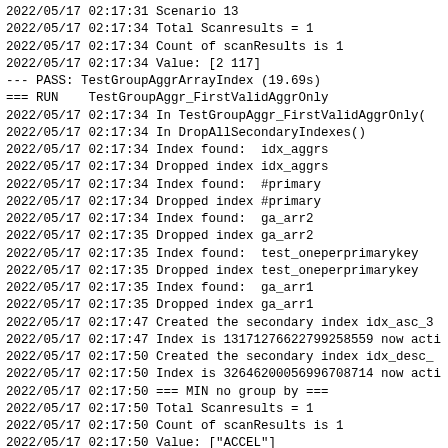2022/05/17 02:17:31 Scenario 13
2022/05/17 02:17:34 Total Scanresults = 1
2022/05/17 02:17:34 Count of scanResults is 1
2022/05/17 02:17:34 Value: [2 117]
--- PASS: TestGroupAggrArrayIndex (19.69s)
=== RUN    TestGroupAggr_FirstValidAggrOnly
2022/05/17 02:17:34 In TestGroupAggr_FirstValidAggrOnly(
2022/05/17 02:17:34 In DropAllSecondaryIndexes()
2022/05/17 02:17:34 Index found:  idx_aggrs
2022/05/17 02:17:34 Dropped index idx_aggrs
2022/05/17 02:17:34 Index found:  #primary
2022/05/17 02:17:34 Dropped index #primary
2022/05/17 02:17:34 Index found:  ga_arr2
2022/05/17 02:17:35 Dropped index ga_arr2
2022/05/17 02:17:35 Index found:  test_oneperprimarykey
2022/05/17 02:17:35 Dropped index test_oneperprimarykey
2022/05/17 02:17:35 Index found:  ga_arr1
2022/05/17 02:17:35 Dropped index ga_arr1
2022/05/17 02:17:47 Created the secondary index idx_asc_3
2022/05/17 02:17:47 Index is 13171276622799258559 now acti
2022/05/17 02:17:50 Created the secondary index idx_desc_
2022/05/17 02:17:50 Index is 32646200056996708714 now acti
2022/05/17 02:17:50 === MIN no group by ===
2022/05/17 02:17:50 Total Scanresults = 1
2022/05/17 02:17:50 Count of scanResults is 1
2022/05/17 02:17:50 Value: ["ACCEL"]
2022/05/17 02:17:51 === MIN no group by, no row match ===
2022/05/17 02:17:51 Total Scanresults = 1
2022/05/17 02:17:51 Count of scanResults is 1
2022/05/17 02:17:51 Value: [null]
2022/05/17 02:17:51 === MIN with group by